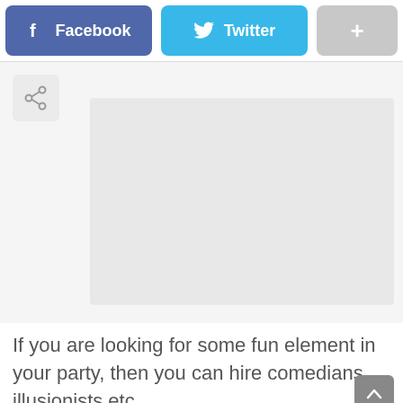[Figure (screenshot): Social share buttons: Facebook (blue-purple), Twitter (light blue), and a plus button (grey)]
[Figure (photo): Faded/whitened image area with a share icon button in top-left corner]
If you are looking for some fun element in your party, then you can hire comedians, illusionists etc.